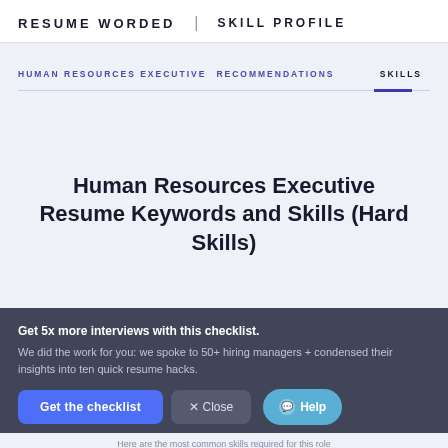RESUME WORDED | SKILL PROFILE
Human Resources Executive Resume Keywords and Skills (Hard Skills)
Get 5x more interviews with this checklist.
We did the work for you: we spoke to 50+ hiring managers + condensed their insights into ten quick resume hacks.